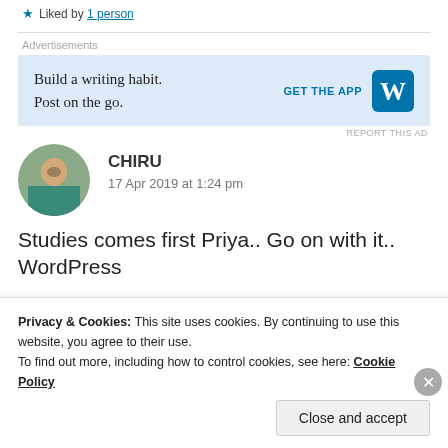Liked by 1 person
Advertisements
[Figure (screenshot): WordPress app advertisement banner: 'Build a writing habit. Post on the go.' with GET THE APP button and WordPress logo]
REPORT THIS AD
CHIRU
17 Apr 2019 at 1:24 pm
Studies comes first Priya.. Go on with it.. WordPress
Privacy & Cookies: This site uses cookies. By continuing to use this website, you agree to their use.
To find out more, including how to control cookies, see here: Cookie Policy